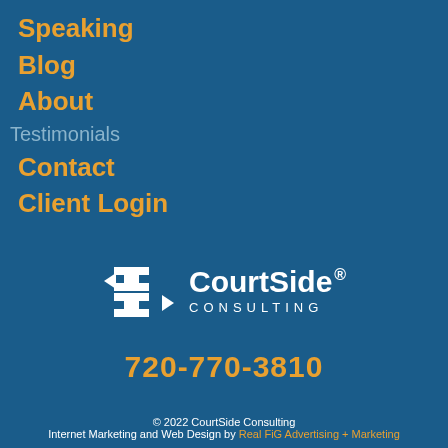Speaking
Blog
About
Testimonials
Contact
Client Login
[Figure (logo): CourtSide Consulting logo with stylized 'S' icon in white and text 'CourtSide CONSULTING' in white]
720-770-3810
© 2022 CourtSide Consulting
Internet Marketing and Web Design by Real FiG Advertising + Marketing